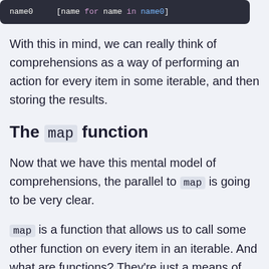[Figure (screenshot): Dark code block showing Python code with name0, [name for name in names] syntax highlighted]
With this in mind, we can really think of comprehensions as a way of performing an action for every item in some iterable, and then storing the results.
The map function
Now that we have this mental model of comprehensions, the parallel to map is going to be very clear.
map is a function that allows us to call some other function on every item in an iterable. And what are functions? They're just a means of defining some